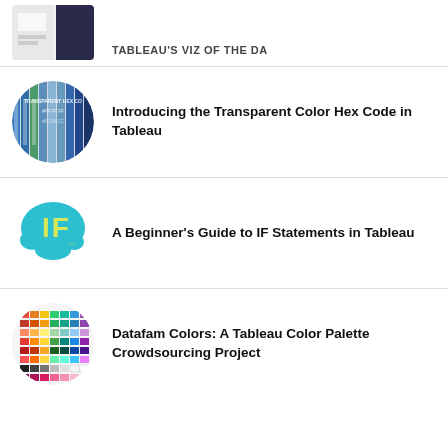[Figure (screenshot): Partial top card showing a cropped image labeled TABLEAU'S VIZ OF THE DA with a small thumbnail]
[Figure (photo): Circular thumbnail of color hex code swatches (blues and greens) with text TRANSPARENT HEX CO]
Introducing the Transparent Color Hex Code in Tableau
[Figure (illustration): Circular thumbnail with teal/cyan cloud shape and white letters IF on it]
A Beginner's Guide to IF Statements in Tableau
[Figure (illustration): Circular thumbnail showing a grid of colorful color palette swatches]
Datafam Colors: A Tableau Color Palette Crowdsourcing Project